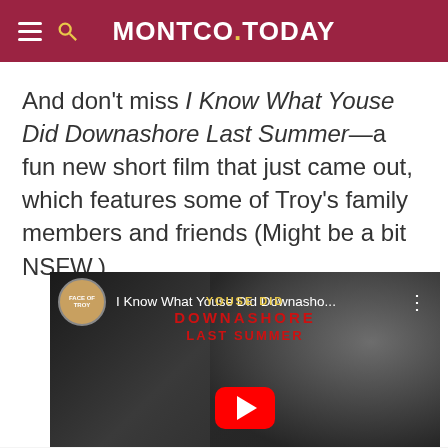MONTCO.TODAY
And don't miss I Know What Youse Did Downashore Last Summer—a fun new short film that just came out, which features some of Troy's family members and friends (Might be a bit NSFW.)
[Figure (screenshot): YouTube video embed showing 'I Know What Youse Did Downasho...' with a circular channel thumbnail, red and yellow title text overlay on a dark background with a grayscale face, and a YouTube play button.]